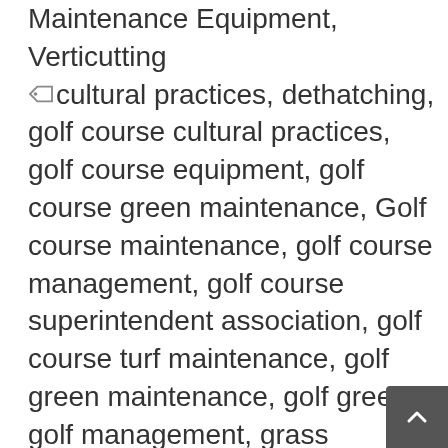Maintenance Equipment, Verticutting
🏷 cultural practices, dethatching, golf course cultural practices, golf course equipment, golf course green maintenance, Golf course maintenance, golf course management, golf course superintendent association, golf course turf maintenance, golf green maintenance, golf greens, golf management, grass thatcher, Greens Rolling, high density artificial grass, lawn pattern, Mowing, power rake, Soil Compaction, sports turf maintenance, stripes in lawn, Thatch Management, toro equiptment, toro fairway mowers, toro lawn equipment, turf equipment, turf grass maintenance, turf lawn